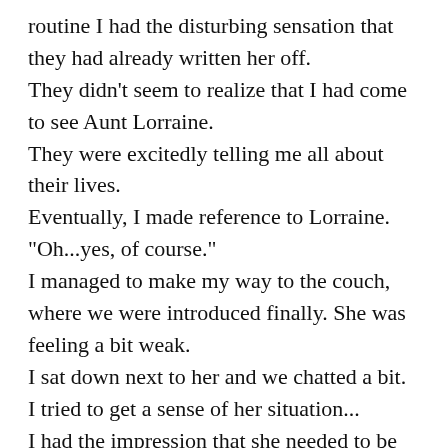routine I had the disturbing sensation that they had already written her off. They didn't seem to realize that I had come to see Aunt Lorraine. They were excitedly telling me all about their lives. Eventually, I made reference to Lorraine. "Oh...yes, of course." I managed to make my way to the couch, where we were introduced finally. She was feeling a bit weak. I sat down next to her and we chatted a bit. I tried to get a sense of her situation... I had the impression that she needed to be held... just a hand in hers. She was so small and frail, nearly swallowed up by the overstuffed couch. She seemed so....what was the word.... untouched.